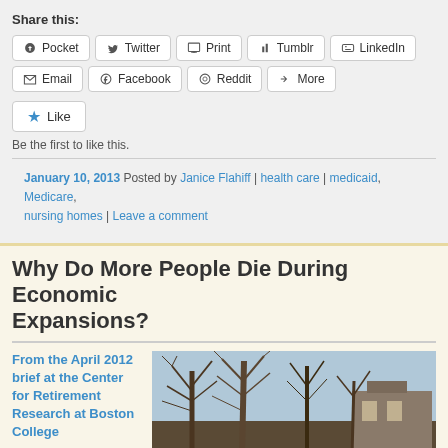Share this:
Pocket | Twitter | Print | Tumblr | LinkedIn | Email | Facebook | Reddit | More
Like
Be the first to like this.
January 10, 2013 Posted by Janice Flahiff | health care | medicaid, Medicare, nursing homes | Leave a comment
Why Do More People Die During Economic Expansions?
From the April 2012 brief at the Center for Retirement Research at Boston College
[Figure (photo): Outdoor photo showing bare winter trees against a sky background, with what appears to be a building partially visible]